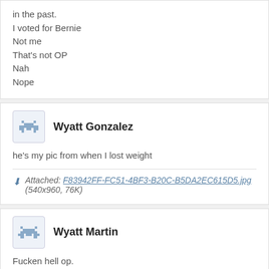in the past.
I voted for Bernie
Not me
That's not OP
Nah
Nope
Wyatt Gonzalez
he's my pic from when I lost weight
Attached: F83942FF-FC51-4BF3-B20C-B5DA2EC615D5.jpg (540x960, 76K)
Wyatt Martin
Fucken hell op.
Blake Garcia